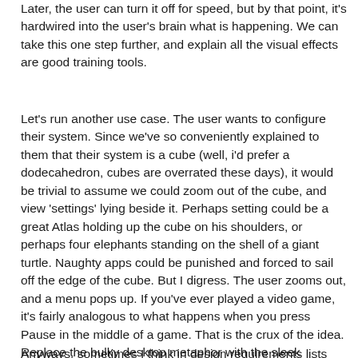Later, the user can turn it off for speed, but by that point, it's hardwired into the user's brain what is happening. We can take this one step further, and explain all the visual effects are good training tools.
Let's run another use case. The user wants to configure their system. Since we've so conveniently explained to them that their system is a cube (well, i'd prefer a dodecahedron, cubes are overrated these days), it would be trivial to assume we could zoom out of the cube, and view 'settings' lying beside it. Perhaps setting could be a great Atlas holding up the cube on his shoulders, or perhaps four elephants standing on the shell of a giant turtle. Naughty apps could be punished and forced to sail off the edge of the cube. But I digress. The user zooms out, and a menu pops up. If you've ever played a video game, it's fairly analogous to what happens when you press Pause in the middle of a game. That is the crux of the idea. Replace the bulky desktop metaphor with the sleek interface of a Video Game, and use some favoured fork of a Compiz tool as the graphical engine.
Anyways, sometimes I think in design requirements lists...